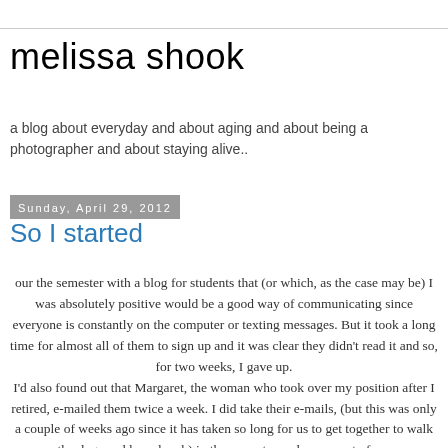melissa shook
a blog about everyday and about aging and about being a photographer and about staying alive..
Sunday, April 29, 2012
So I started
our the semester with a blog for students that (or which, as the case may be) I was absolutely positive would be a good way of communicating since everyone is constantly on the computer or texting messages. But it took a long time for almost all of them to sign up and it was clear they didn't read it and so, for two weeks, I gave up.
I'd also found out that Margaret, the woman who took over my position after I retired, e-mailed them twice a week. I did take their e-mails, (but this was only a couple of weeks ago since it has taken so long for us to get together to walk the dogs and have lunch) in the semester and some part of me